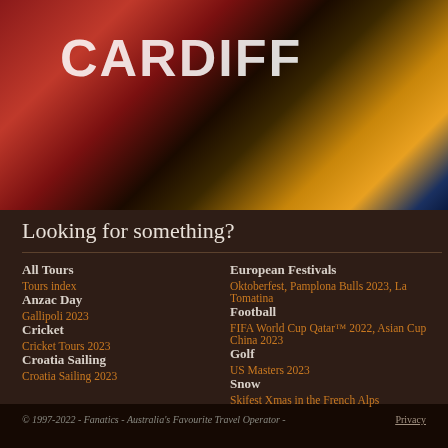[Figure (photo): Blurred background photo showing Cardiff signage in red and another sign in gold/yellow on dark background]
Looking for something?
All Tours - Tours index
Anzac Day - Gallipoli 2023
Cricket - Cricket Tours 2023
Croatia Sailing - Croatia Sailing 2023
European Festivals - Oktoberfest, Pamplona Bulls 2023, La Tomatina
Football - FIFA World Cup Qatar™ 2022, Asian Cup China 2023
Golf - US Masters 2023
Snow - Skifest Xmas in the French Alps
© 1997-2022 - Fanatics - Australia's Favourite Travel Operator -  Privacy